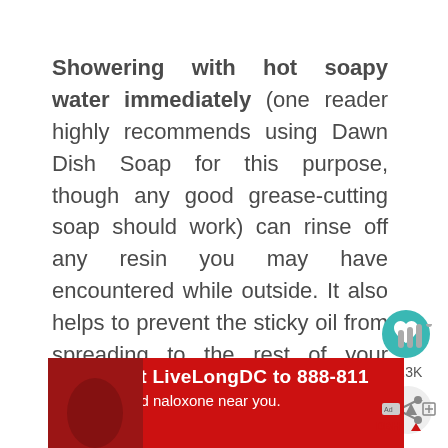Showering with hot soapy water immediately (one reader highly recommends using Dawn Dish Soap for this purpose, though any good grease-cutting soap should work) can rinse off any resin you may have encountered while outside. It also helps to prevent the sticky oil from spreading to the rest of your family members.
[Figure (infographic): Teal circular like/heart button with heart icon, count label '1.3K', and a share button below it on the right side of the page.]
[Figure (infographic): Red advertisement banner at the bottom: 'Text LiveLongDC to 888-811 to find naloxone near you.' with DBH logo and ad icons.]